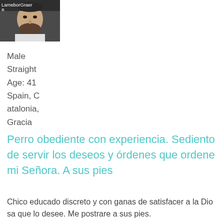[Figure (photo): Profile photo of a bearded man with username overlay text 'LameborGraera']
Male
Straight
Age: 41
Spain, C
atalonia,
Gracia
Perro obediente con experiencia. Sediento de servir los deseos y órdenes que ordene mi Señora. A sus pies
Chico educado discreto y con ganas de satisfacer a la Diosa que lo desee. Me postrare a sus pies.